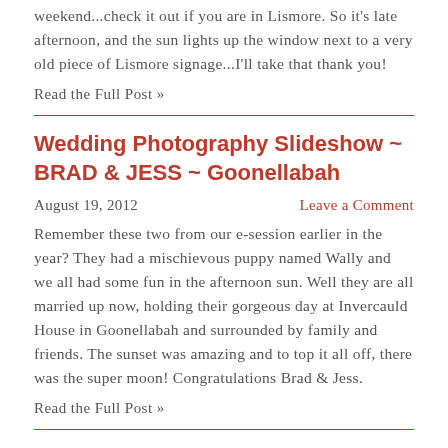weekend...check it out if you are in Lismore. So it's late afternoon, and the sun lights up the window next to a very old piece of Lismore signage...I'll take that thank you!
Read the Full Post »
Wedding Photography Slideshow ~ BRAD & JESS ~ Goonellabah
August 19, 2012
Leave a Comment
Remember these two from our e-session earlier in the year? They had a mischievous puppy named Wally and we all had some fun in the afternoon sun. Well they are all married up now, holding their gorgeous day at Invercauld House in Goonellabah and surrounded by family and friends. The sunset was amazing and to top it all off, there was the super moon! Congratulations Brad & Jess.
Read the Full Post »